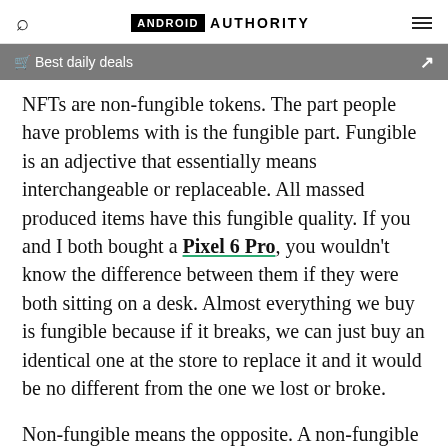ANDROID AUTHORITY
Best daily deals
NFTs are non-fungible tokens. The part people have problems with is the fungible part. Fungible is an adjective that essentially means interchangeable or replaceable. All massed produced items have this fungible quality. If you and I both bought a Pixel 6 Pro, you wouldn't know the difference between them if they were both sitting on a desk. Almost everything we buy is fungible because if it breaks, we can just buy an identical one at the store to replace it and it would be no different from the one we lost or broke.
Non-fungible means the opposite. A non-fungible item is one-of-a-kind, unlike no other, and visually distinguishable from all other items like it. Some